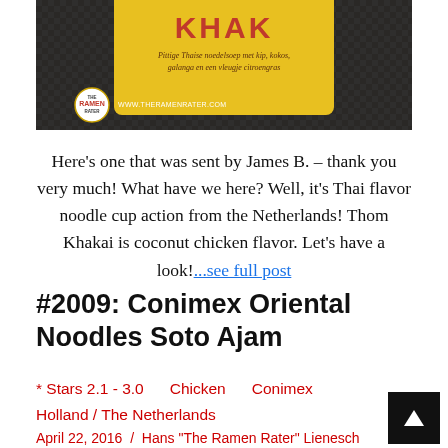[Figure (photo): Photo of a yellow Thom Khakai Thai flavor noodle cup on a dark woven background, with The Ramen Rater logo and www.theramenrater.com watermark]
Here's one that was sent by James B. – thank you very much! What have we here? Well, it's Thai flavor noodle cup action from the Netherlands! Thom Khakai is coconut chicken flavor. Let's have a look!...see full post
#2009: Conimex Oriental Noodles Soto Ajam
* Stars 2.1 - 3.0    Chicken    Conimex
Holland / The Netherlands
April 22, 2016  /  Hans "The Ramen Rater" Lienesch